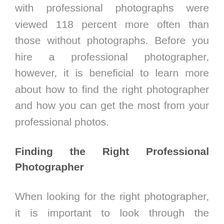with professional photographs were viewed 118 percent more often than those without photographs. Before you hire a professional photographer, however, it is beneficial to learn more about how to find the right photographer and how you can get the most from your professional photos.
Finding the Right Professional Photographer
When looking for the right photographer, it is important to look through the portfolios the photographer has posted online. Look for the photographer who shoots the photos in the style that you like. Pay particular attention to the photos that the photographer took of small rooms, such as the bathroom. Since small